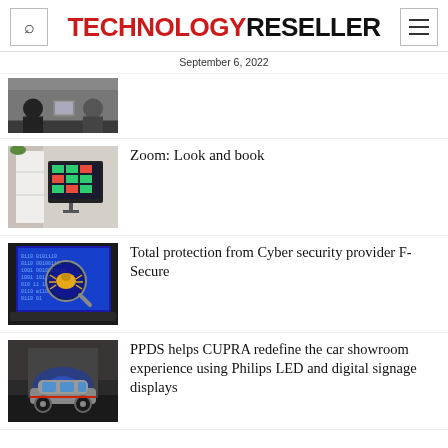TECHNOLOGY RESELLER
September 6, 2022
[Figure (photo): Two people sitting at a desk with a computer screen, appearing to be in a meeting or interview setting]
[Figure (photo): A monitor displaying a scheduling or booking interface with green and red colored blocks, placed in a modern room]
Zoom: Look and book
[Figure (photo): A laptop with a blue screen showing binary code and a magnifying glass with a bug icon, representing cybersecurity]
Total protection from Cyber security provider F-Secure
[Figure (photo): A car showroom with a CUPRA vehicle on display with blue lighting and digital signage]
PPDS helps CUPRA redefine the car showroom experience using Philips LED and digital signage displays